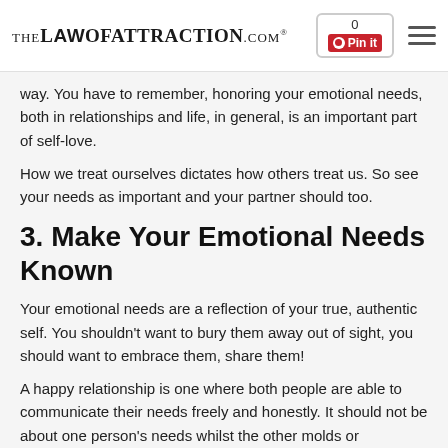TheLawOfAttraction.com® | 0 Pin it | menu
way. You have to remember, honoring your emotional needs, both in relationships and life, in general, is an important part of self-love.
How we treat ourselves dictates how others treat us. So see your needs as important and your partner should too.
3. Make Your Emotional Needs Known
Your emotional needs are a reflection of your true, authentic self. You shouldn't want to bury them away out of sight, you should want to embrace them, share them!
A happy relationship is one where both people are able to communicate their needs freely and honestly. It should not be about one person's needs whilst the other molds or suppresses theirs to conform. It should be about a relationship based on authenticity, communication and a